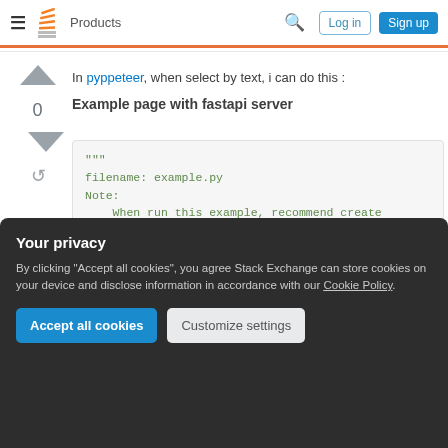Stack Overflow — Products | Log in | Sign up
In pyppeteer, when select by text, i can do this :
Example page with fastapi server
"""
filename: example.py
Note:
    When run this example, recommend create
    Install dependencies:
        ```shell
        pipenv install fastapi uvicorn pyth
        ```
Your privacy
By clicking "Accept all cookies", you agree Stack Exchange can store cookies on your device and disclose information in accordance with our Cookie Policy.
Accept all cookies   Customize settings
import uvicorn